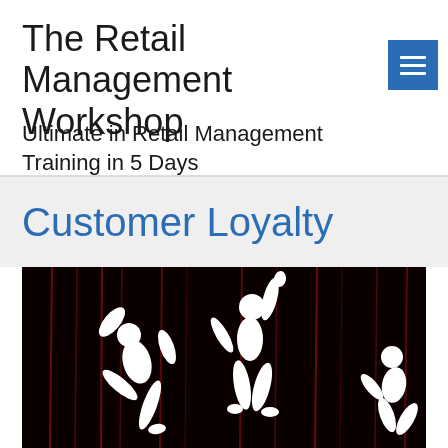The Retail Management Workshop
Ultimate in Retail Management Training in 5 Days
Customer Loyalty
[Figure (illustration): Silhouettes of dancing figures against a dark background with red vertical streaks, black and white style]